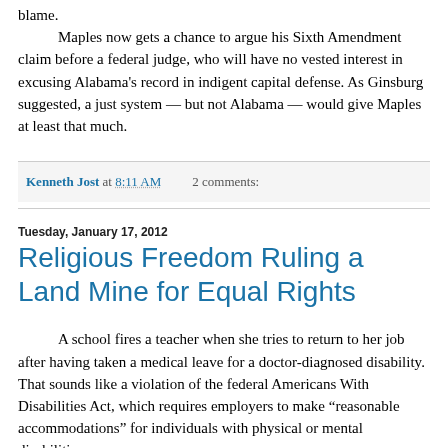blame.
	Maples now gets a chance to argue his Sixth Amendment claim before a federal judge, who will have no vested interest in excusing Alabama's record in indigent capital defense. As Ginsburg suggested, a just system — but not Alabama — would give Maples at least that much.
Kenneth Jost at 8:11 AM   2 comments:
Tuesday, January 17, 2012
Religious Freedom Ruling a Land Mine for Equal Rights
A school fires a teacher when she tries to return to her job after having taken a medical leave for a doctor-diagnosed disability. That sounds like a violation of the federal Americans With Disabilities Act, which requires employers to make “reasonable accommodations” for individuals with physical or mental disabilities.
	Apparently not, however, if the school is church-sponsored and the elementary-grade teacher's duties